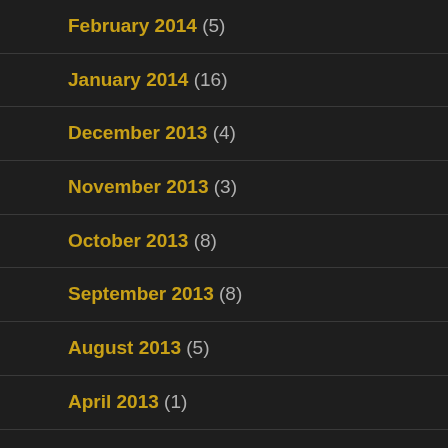February 2014 (5)
January 2014 (16)
December 2013 (4)
November 2013 (3)
October 2013 (8)
September 2013 (8)
August 2013 (5)
April 2013 (1)